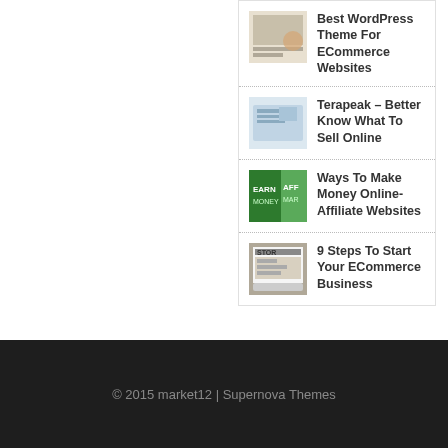Best WordPress Theme For ECommerce Websites
Terapeak – Better Know What To Sell Online
Ways To Make Money Online- Affiliate Websites
9 Steps To Start Your ECommerce Business
© 2015 market12 | Supernova Themes